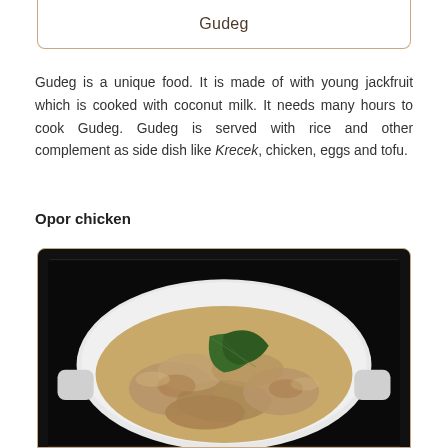Gudeg
Gudeg is a unique food. It is made of with young jackfruit which is cooked with coconut milk. It needs many hours to cook Gudeg. Gudeg is served with rice and other complement as side dish like Krecek, chicken, eggs and tofu.
Opor chicken
[Figure (photo): A white ceramic dish containing Opor chicken - chicken pieces in a creamy coconut milk sauce, garnished with green bay leaves, against a dark background.]